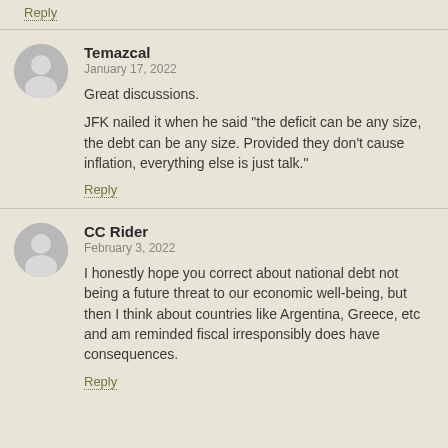Reply
Temazcal
January 17, 2022

Great discussions.

JFK nailed it when he said "the deficit can be any size, the debt can be any size. Provided they don't cause inflation, everything else is just talk."
Reply
CC Rider
February 3, 2022

I honestly hope you correct about national debt not being a future threat to our economic well-being, but then I think about countries like Argentina, Greece, etc and am reminded fiscal irresponsibly does have consequences.
Reply